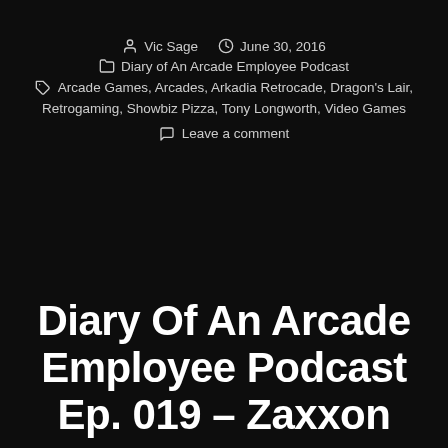Vic Sage   June 30, 2016
Diary of An Arcade Employee Podcast
Arcade Games, Arcades, Arkadia Retrocade, Dragon's Lair, Retrogaming, Showbiz Pizza, Tony Longworth, Video Games
Leave a comment
Diary Of An Arcade Employee Podcast Ep. 019 – Zaxxon